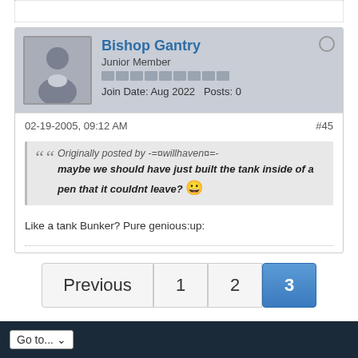[Figure (other): User avatar silhouette placeholder image]
Bishop Gantry
Junior Member
Join Date: Aug 2022   Posts: 0
02-19-2005, 09:12 AM   #45
Originally posted by -=¤willhaven¤=-
maybe we should have just built the tank inside of a pen that it couldnt leave? 😀
Like a tank Bunker? Pure genious:up:
Previous  1  2  3
Go to...